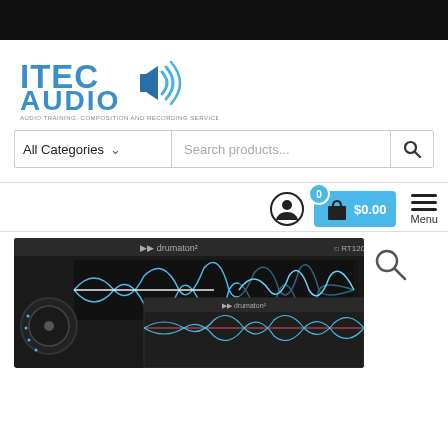[Figure (logo): ITEC Audio logo with speaker icon and tagline: AUDIO TRAINING, COMPOSITION AND RECORDING SERVICES]
[Figure (screenshot): Search bar with All Categories dropdown and Search products... input field and search icon]
[Figure (screenshot): Navigation icons: user account icon, shopping cart with 0 badge and $0.00 price in blue, hamburger menu icon with Menu label, and search magnifying glass icon]
[Figure (screenshot): Product image showing drumaton software interface with audio waveforms on dark background, overlapping with a second instance of the interface]